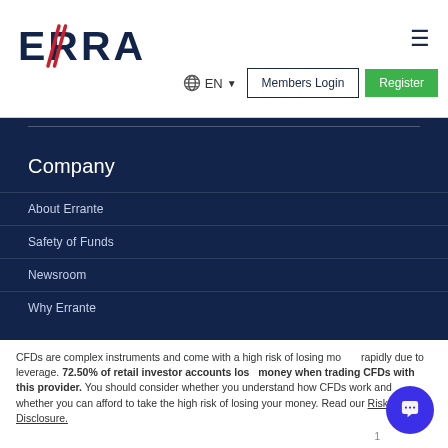[Figure (logo): Errante logo with red diagonal slash marks and dark navy text]
≡
🌐 EN ▾
Members Login
Register
Company
About Errante
Safety of Funds
Newsroom
Why Errante
CFDs are complex instruments and come with a high risk of losing money rapidly due to leverage. 72.50% of retail investor accounts lose money when trading CFDs with this provider. You should consider whether you understand how CFDs work and whether you can afford to take the high risk of losing your money. Read our Risk Disclosure.